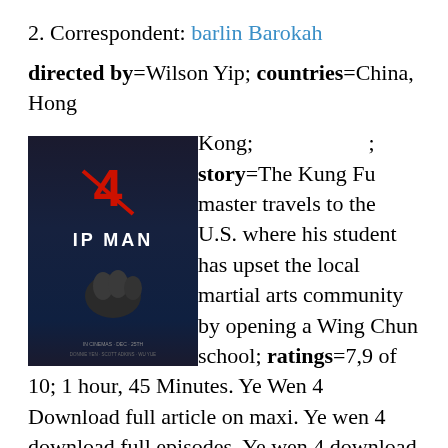2. Correspondent: barlin Barokah
directed by=Wilson Yip; countries=China, Hong
[Figure (photo): Movie poster for Ip Man 4, showing a dark background with a person in martial arts stance, the number 4 in red and the text IP MAN in white bold letters]
Kong; [image]; story=The Kung Fu master travels to the U.S. where his student has upset the local martial arts community by opening a Wing Chun school; ratings=7,9 of 10; 1 hour, 45 Minutes. Ye Wen 4 Download full article on maxi. Ye wen 4 download full episodes. Ye wen 4 download full games.
Ye wen 4 download full version. Ye wen 4